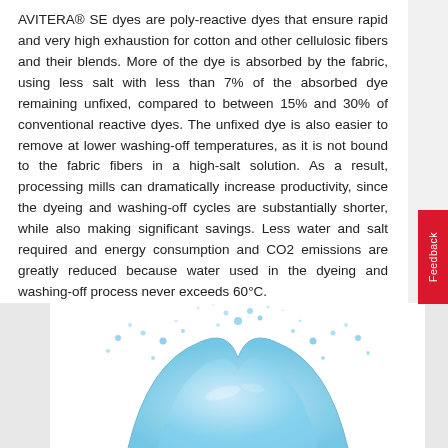AVITERA® SE dyes are poly-reactive dyes that ensure rapid and very high exhaustion for cotton and other cellulosic fibers and their blends. More of the dye is absorbed by the fabric, using less salt with less than 7% of the absorbed dye remaining unfixed, compared to between 15% and 30% of conventional reactive dyes. The unfixed dye is also easier to remove at lower washing-off temperatures, as it is not bound to the fabric fibers in a high-salt solution. As a result, processing mills can dramatically increase productivity, since the dyeing and washing-off cycles are substantially shorter, while also making significant savings. Less water and salt required and energy consumption and CO2 emissions are greatly reduced because water used in the dyeing and washing-off process never exceeds 60°C.
[Figure (photo): Water splash photograph showing a curved wave of water droplets on a white background]